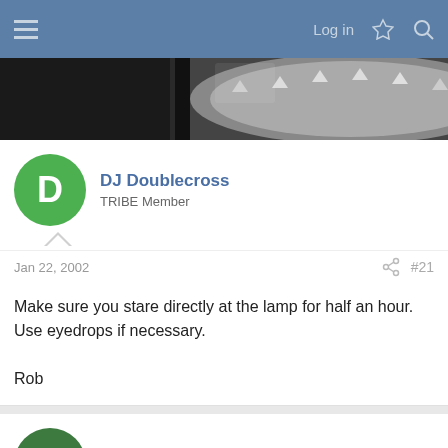Log in
[Figure (photo): Close-up photo of a watch or decorative metallic object with studded/spiked surface, black and silver tones]
DJ Doublecross
TRIBE Member
Jan 22, 2002  #21
Make sure you stare directly at the lamp for half an hour. Use eyedrops if necessary.

Rob
JayBrain
TRIBE Member
Jan 22, 2002  #22